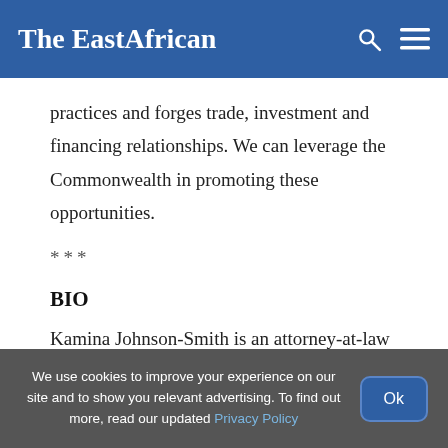The EastAfrican
practices and forges trade, investment and financing relationships. We can leverage the Commonwealth in promoting these opportunities.
***
BIO
Kamina Johnson-Smith is an attorney-at-law who
We use cookies to improve your experience on our site and to show you relevant advertising. To find out more, read our updated Privacy Policy